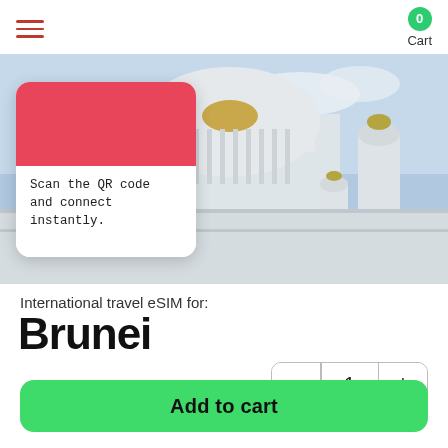[Figure (screenshot): Navigation hamburger menu icon with three horizontal red lines]
0
Cart
[Figure (photo): Photo of a white mosque with golden domes and detailed architecture against a blue sky, with an eSIM card overlay showing red and white design and text 'Scan the QR code and connect instantly.']
International travel eSIM for:
Brunei
1
Add to cart